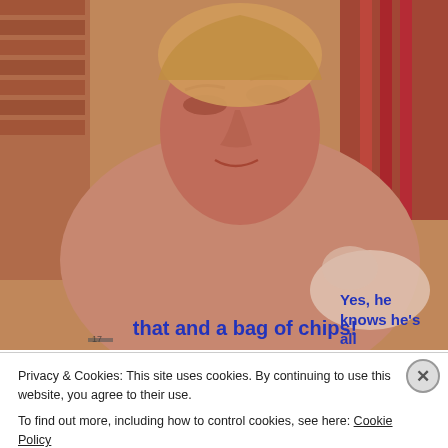[Figure (photo): Close-up photo of a shirtless young man leaning back with eyes closed, against a background with brick wall and colorful curtains. Blurry warm-toned image.]
Yes, he knows he's all that and a bag of chips!
Privacy & Cookies: This site uses cookies. By continuing to use this website, you agree to their use.
To find out more, including how to control cookies, see here: Cookie Policy
Close and accept